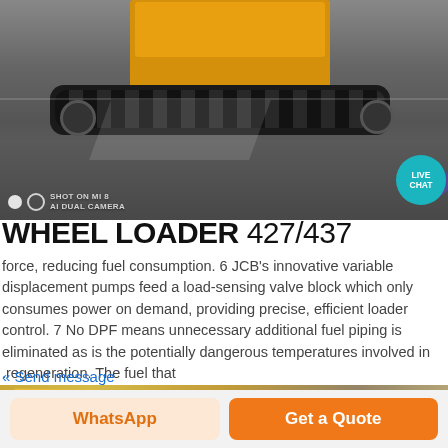[Figure (photo): Yellow tracked compact machine (tracked loader/carrier) photographed indoors on grey floor. 'Shot on Mi 8 AI Dual Camera' watermark visible. Live Chat bubble in top right corner.]
WHEEL LOADER 427/437
force, reducing fuel consumption. 6 JCB's innovative variable displacement pumps feed a load-sensing valve block which only consumes power on demand, providing precise, efficient loader control. 7 No DPF means unnecessary additional fuel piping is eliminated as is the potentially dangerous temperatures involved in .regeneration. The fuel that
« Send message
[Figure (photo): Partial view of yellow construction machine bucket/loader attachment in a warehouse setting.]
WhatsApp
Get a Quote